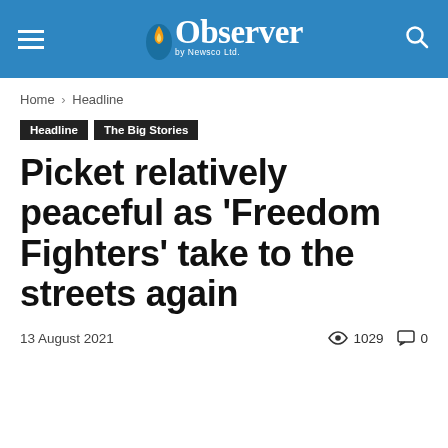Observer by Newsco Ltd.
Home › Headline
Headline
The Big Stories
Picket relatively peaceful as 'Freedom Fighters' take to the streets again
13 August 2021  👁 1029  💬 0